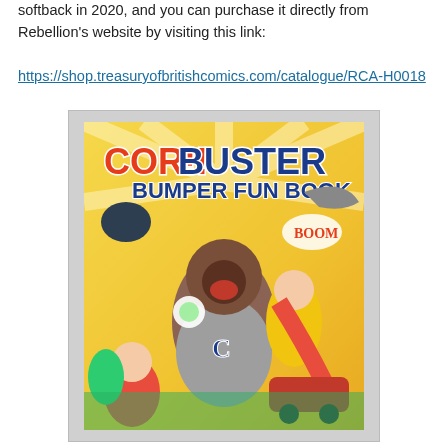softback in 2020, and you can purchase it directly from Rebellion's website by visiting this link:
https://shop.treasuryofbritishcomics.com/catalogue/RCA-H0018
[Figure (photo): Photo of the Cor!! Buster Bumper Fun Book comic anthology cover, showing cartoon superhero and comic characters in a colorful illustrated scene.]